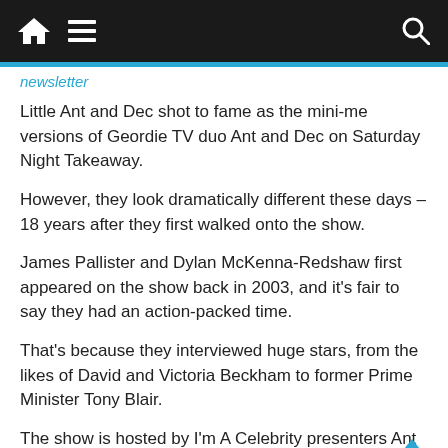Navigation bar with home, menu, and search icons
newsletter
Little Ant and Dec shot to fame as the mini-me versions of Geordie TV duo Ant and Dec on Saturday Night Takeaway.
However, they look dramatically different these days – 18 years after they first walked onto the show.
James Pallister and Dylan McKenna-Redshaw first appeared on the show back in 2003, and it's fair to say they had an action-packed time.
That's because they interviewed huge stars, from the likes of David and Victoria Beckham to former Prime Minister Tony Blair.
The show is hosted by I'm A Celebrity presenters Ant and Dec, but it was decided that they would recruit